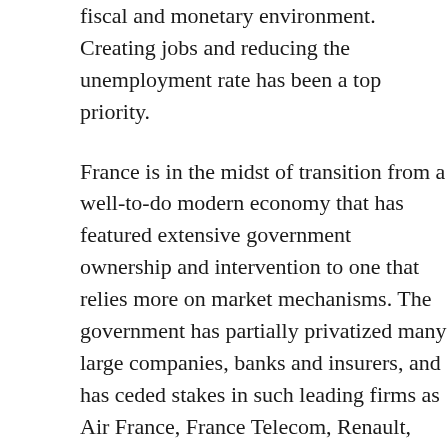fiscal and monetary environment. Creating jobs and reducing the unemployment rate has been a top priority.
France is in the midst of transition from a well-to-do modern economy that has featured extensive government ownership and intervention to one that relies more on market mechanisms. The government has partially privatized many large companies, banks and insurers, and has ceded stakes in such leading firms as Air France, France Telecom, Renault, and Thales.
France's leaders remain committed to a capitalism in which they mitigate social equity by means of laws, tax policies, and social spending that address income disparity and the impact of free markets on public well-being.
France has weathered the global economic crisis better than most other advanced economies because of the relative resilience of domestic consumer spending.